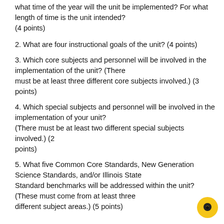what time of the year will the unit be implemented? For what length of time is the unit intended?
(4 points)
2. What are four instructional goals of the unit? (4 points)
3. Which core subjects and personnel will be involved in the implementation of the unit? (There must be at least three different core subjects involved.) (3 points)
4. Which special subjects and personnel will be involved in the implementation of your unit?
(There must be at least two different special subjects involved.) (2 points)
5. What five Common Core Standards, New Generation Science Standards, and/or Illinois State Standard benchmarks will be addressed within the unit? (These must come from at least three different subject areas.) (5 points)